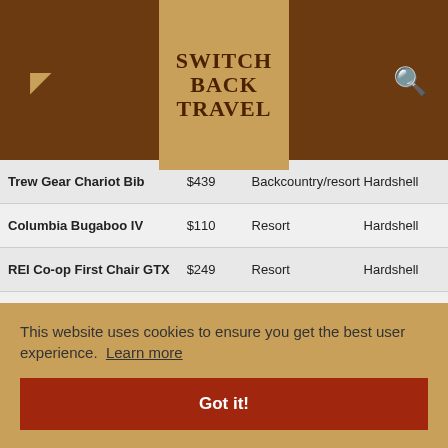SWITCH BACK TRAVEL
| Product | Price | Use | Type |
| --- | --- | --- | --- |
| Trew Gear Chariot Bib | $439 | Backcountry/resort | Hardshell |
| Columbia Bugaboo IV | $110 | Resort | Hardshell |
| REI Co-op First Chair GTX | $249 | Resort | Hardshell |
| Arc'teryx Incendia | $999 | Resort | Hardshell |
| (partial) |  |  | Hardshell |
| (partial) |  |  | Hardshell |
| (partial) |  |  | Hardshell |
| (partial) |  |  | Softshell & |
| REI Co-op Powderbound | $139 | Resort | Hardshell |
This website uses cookies to ensure you get the best user experience. Learn more
Got it!